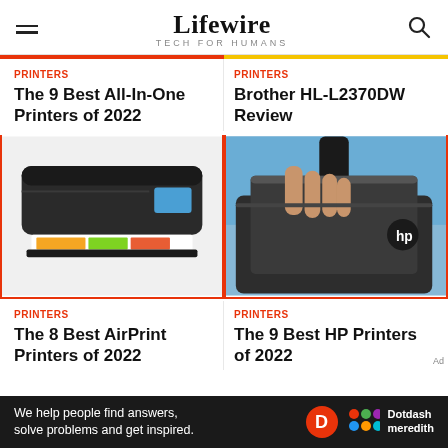Lifewire TECH FOR HUMANS
PRINTERS
The 9 Best All-In-One Printers of 2022
PRINTERS
Brother HL-L2370DW Review
[Figure (photo): HP all-in-one printer printing a colorful photo on white background]
[Figure (photo): Person carrying an HP laptop bag over their shoulder, wearing a blue shirt]
PRINTERS
The 8 Best AirPrint Printers of 2022
PRINTERS
The 9 Best HP Printers of 2022
We help people find answers, solve problems and get inspired.
[Figure (logo): Dotdash meredith logo with D circle and colorful dots]